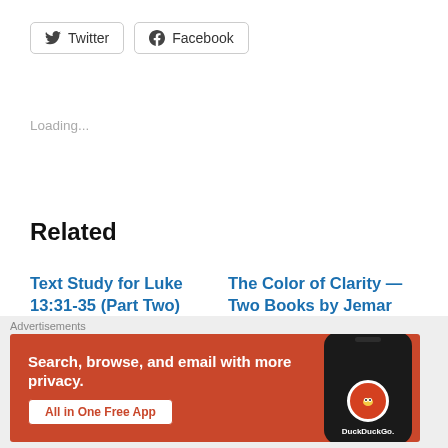[Figure (screenshot): Twitter and Facebook social share buttons]
Loading...
Related
Text Study for Luke 13:31-35 (Part Two)
March 8, 2022
In "Sermon text study"
The Color of Clarity — Two Books by Jemar Tisby (Read them!)
January 10, 2021
Advertisements
[Figure (screenshot): DuckDuckGo advertisement banner: Search, browse, and email with more privacy. All in One Free App]